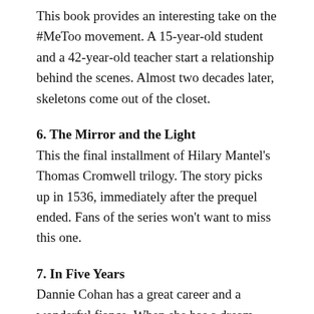This book provides an interesting take on the #MeToo movement. A 15-year-old student and a 42-year-old teacher start a relationship behind the scenes. Almost two decades later, skeletons come out of the closet.
6. The Mirror and the Light
This the final installment of Hilary Mantel's Thomas Cromwell trilogy. The story picks up in 1536, immediately after the prequel ended. Fans of the series won't want to miss this one.
7. In Five Years
Dannie Cohan has a great career and a wonderful fiance. When she has a dream about being with another man five years later, she